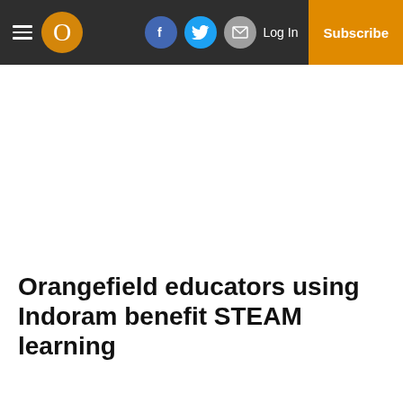Orangefield — Navigation bar with hamburger menu, O logo, Facebook, Twitter, Email icons, Log In, Subscribe
Orangefield educators using Indorama benefit STEAM learning